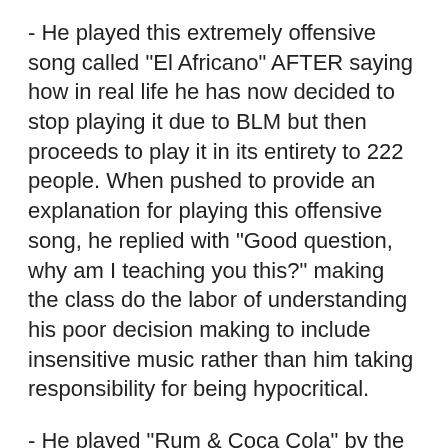- He played this extremely offensive song called "El Africano" AFTER saying how in real life he has now decided to stop playing it due to BLM but then proceeds to play it in its entirety to 222 people. When pushed to provide an explanation for playing this offensive song, he replied with "Good question, why am I teaching you this?" making the class do the labor of understanding his poor decision making to include insensitive music rather than him taking responsibility for being hypocritical.
- He played "Rum & Coca Cola" by the Andrews Sisters as one of the few songs we heard from Calypso. This song is a racist caricature sung by three white American women.
- He centers the conversation about Haiti entirely around voodoo (a common but ill-informed American